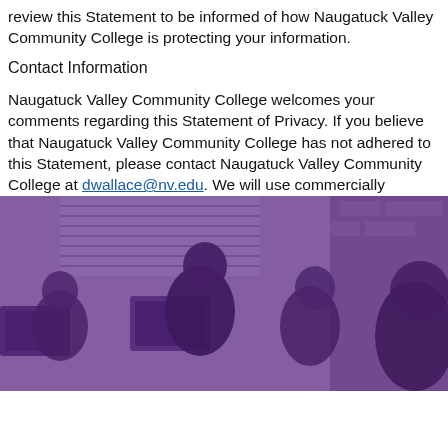review this Statement to be informed of how Naugatuck Valley Community College is protecting your information.
Contact Information
Naugatuck Valley Community College welcomes your comments regarding this Statement of Privacy. If you believe that Naugatuck Valley Community College has not adhered to this Statement, please contact Naugatuck Valley Community College at dwallace@nv.edu. We will use commercially
[Figure (photo): Purple-tinted photo of students and instructor working together at computers in a classroom setting.]